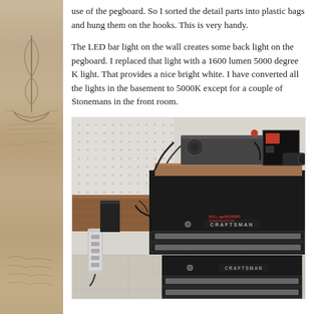use of the pegboard. So I sorted the detail parts into plastic bags and hung them on the hooks. This is very handy.
The LED bar light on the wall creates some back light on the pegboard. I replaced that light with a 1600 lumen 5000 degree K light. That provides a nice bright white. I have converted all the lights in the basement to 5000K except for a couple of Stonemans in the front room.
[Figure (photo): A Craftsman tool chest/cabinet (black, two-stacked units) with a wooden board on top holding what appears to be a small lathe or machine tool with wiring. A wood workbench is visible to the left with a power strip. Pegboard is visible in the upper left background.]